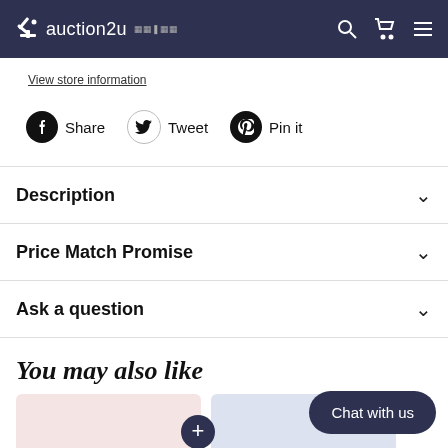auction2u
View store information
Share  Tweet  Pin it
Description
Price Match Promise
Ask a question
You may also like
Chat with us